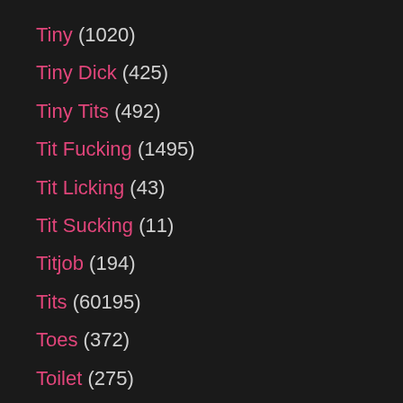Tiny (1020)
Tiny Dick (425)
Tiny Tits (492)
Tit Fucking (1495)
Tit Licking (43)
Tit Sucking (11)
Titjob (194)
Tits (60195)
Toes (372)
Toilet (275)
Tongue (292)
Toon (912)
Topless (301)
Tourist (101)
Toys (11288)